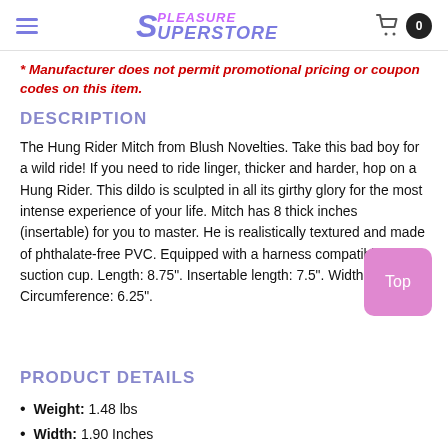Pleasure Superstore
* Manufacturer does not permit promotional pricing or coupon codes on this item.
DESCRIPTION
The Hung Rider Mitch from Blush Novelties. Take this bad boy for a wild ride! If you need to ride linger, thicker and harder, hop on a Hung Rider. This dildo is sculpted in all its girthy glory for the most intense experience of your life. Mitch has 8 thick inches (insertable) for you to master. He is realistically textured and made of phthalate-free PVC. Equipped with a harness compatible suction cup. Length: 8.75". Insertable length: 7.5". Width: 1.9". Circumference: 6.25".
PRODUCT DETAILS
Weight: 1.48 lbs
Width: 1.90 Inches